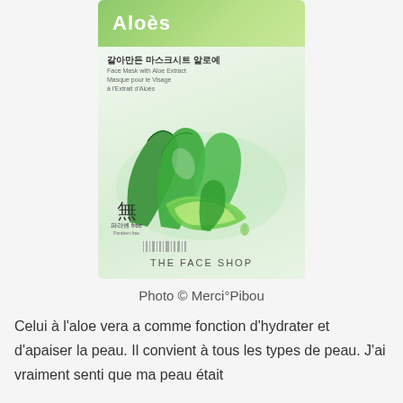[Figure (photo): Product photo of The Face Shop Aloe Vera Face Mask sheet with Korean text and aloe vera plant imagery]
Photo © Merci°Pibou
Celui à l'aloe vera a comme fonction d'hydrater et d'apaiser la peau. Il convient à tous les types de peau. J'ai vraiment senti que ma peau était